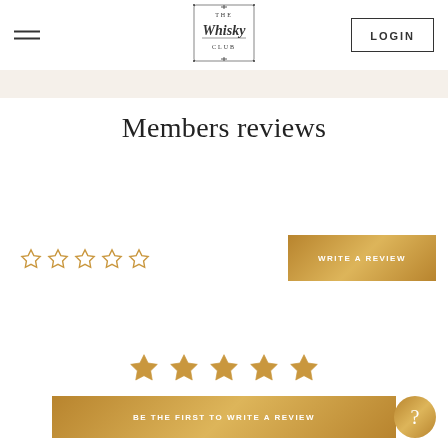[Figure (logo): The Whisky Club logo - ornate script with decorative border]
Members reviews
[Figure (other): Five empty star rating icons in gold outline]
[Figure (other): WRITE A REVIEW button with gold gradient background]
[Figure (other): Five filled gold star icons]
[Figure (other): BE THE FIRST TO WRITE A REVIEW button with gold gradient background]
[Figure (other): Gold circular help/question mark button]